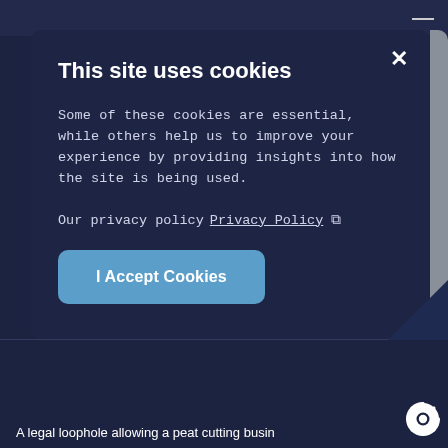This site uses cookies
Some of these cookies are essential, while others help us to improve your experience by providing insights into how the site is being used.
Our privacy policy Privacy Policy [external link icon]
I Accept Cookies
A legal loophole allowing a peat cutting busin